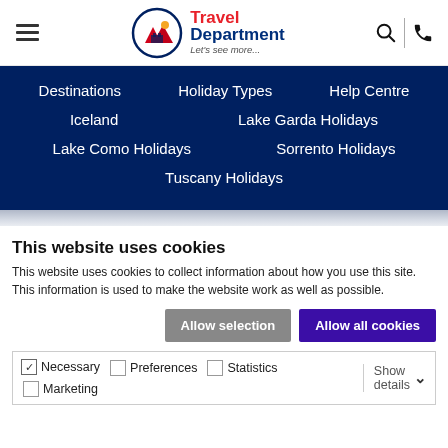Travel Department - Let's see more...
Destinations
Holiday Types
Help Centre
Iceland
Lake Garda Holidays
Lake Como Holidays
Sorrento Holidays
Tuscany Holidays
This website uses cookies
This website uses cookies to collect information about how you use this site. This information is used to make the website work as well as possible.
Allow selection | Allow all cookies
Necessary  Preferences  Statistics  Marketing  Show details